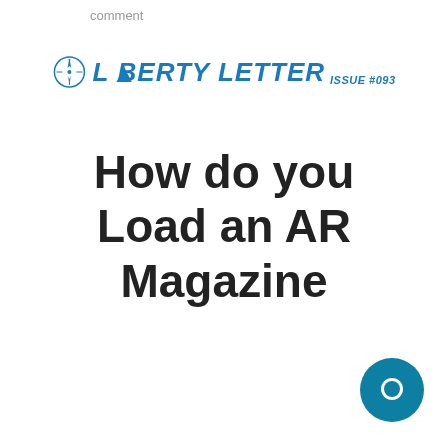comment
[Figure (logo): Liberty Letter logo with compass icon and text 'LIBERTY LETTER ISSUE #093' in blue italic bold font]
How do you Load an AR Magazine
[Figure (other): Teal circular chat bubble icon in bottom right corner]